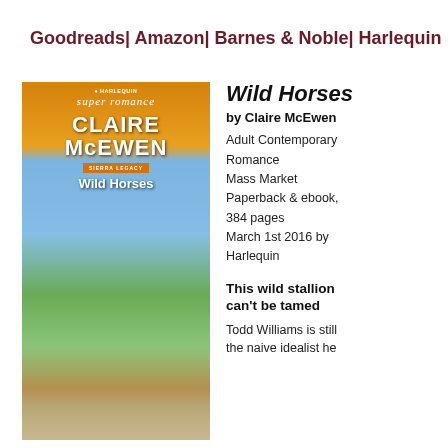Goodreads | Amazon | Barnes & Noble | Harlequin
[Figure (photo): Book cover of Wild Horses by Claire McEwen, Harlequin Super Romance, Sierra Legacy series. Shows two people (man and woman) looking at wild horses on a mountainous landscape.]
Wild Horses
by Claire McEwen
Adult Contemporary Romance
Mass Market Paperback & ebook, 384 pages
March 1st 2016 by Harlequin
This wild stallion can't be tamed
Todd Williams is still the naive idealist he